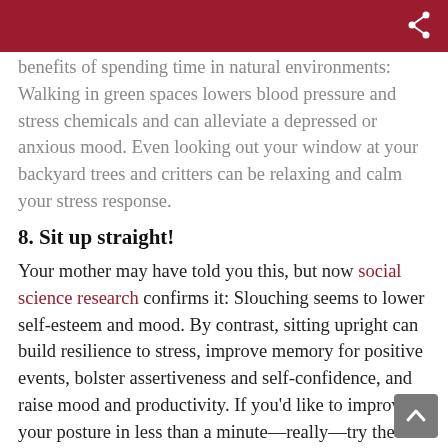benefits of spending time in natural environments: Walking in green spaces lowers blood pressure and stress chemicals and can alleviate a depressed or anxious mood. Even looking out your window at your backyard trees and critters can be relaxing and calm your stress response.
8. Sit up straight!
Your mother may have told you this, but now social science research confirms it: Slouching seems to lower self-esteem and mood. By contrast, sitting upright can build resilience to stress, improve memory for positive events, bolster assertiveness and self-confidence, and raise mood and productivity. If you'd like to improve your posture in less than a minute—really—try the amazing palms-up technique.